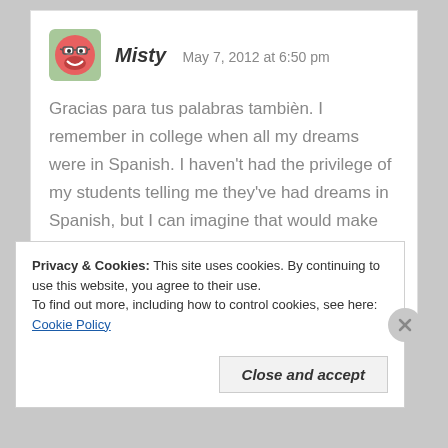[Figure (illustration): Round cartoon avatar of a character with glasses, pink/red face, on a light green background]
Misty   May 7, 2012 at 6:50 pm
Gracias para tus palabras tambièn. I remember in college when all my dreams were in Spanish. I haven't had the privilege of my students telling me they've had dreams in Spanish, but I can imagine that would make my day! Thank you for taking time to read the post.
Like
Privacy & Cookies: This site uses cookies. By continuing to use this website, you agree to their use.
To find out more, including how to control cookies, see here: Cookie Policy
Close and accept